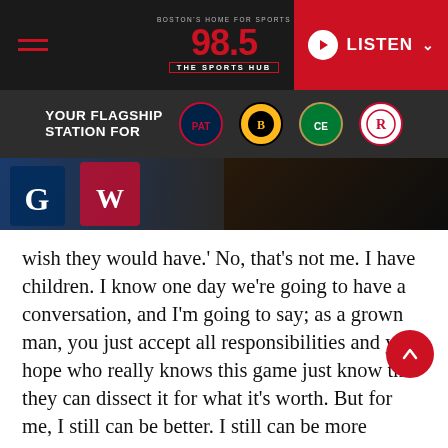[Figure (screenshot): 98.5 The Sports Hub radio station top navigation bar with hamburger menu, logo, and red LISTEN button]
[Figure (infographic): Dark bar reading YOUR FLAGSHIP STATION FOR with team logos: Patriots, Bruins, Celtics, and Revolution]
[Figure (photo): Sports jerseys on dark background hero image]
wish they would have.' No, that's not me. I have children. I know one day we're going to have a conversation, and I'm going to say; as a grown man, you just accept all responsibilities and you hope who really knows this game just know that they can dissect it for what it's worth. But for me, I still can be better. I still can be more